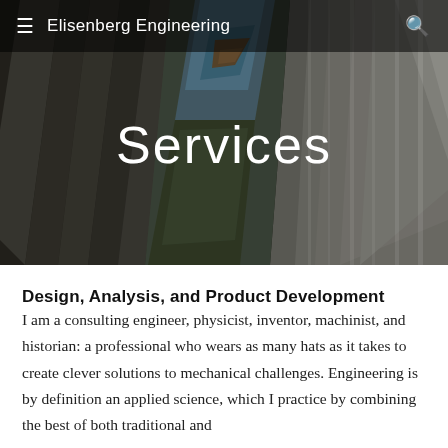Elisenberg Engineering
[Figure (photo): Close-up photo of metal/engineering materials — dark corrugated metal surfaces with a blue and bronze mineral or painted element in the center, olive/yellow tones, shot at an angle. Background image for the hero section of the Services page.]
Services
Design, Analysis, and Product Development
I am a consulting engineer, physicist, inventor, machinist, and historian: a professional who wears as many hats as it takes to create clever solutions to mechanical challenges. Engineering is by definition an applied science, which I practice by combining the best of both traditional and